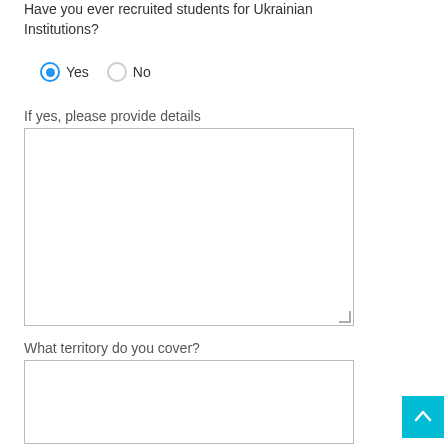Have you ever recruited students for Ukrainian Institutions?
Yes (selected)
No
If yes, please provide details
What territory do you cover?